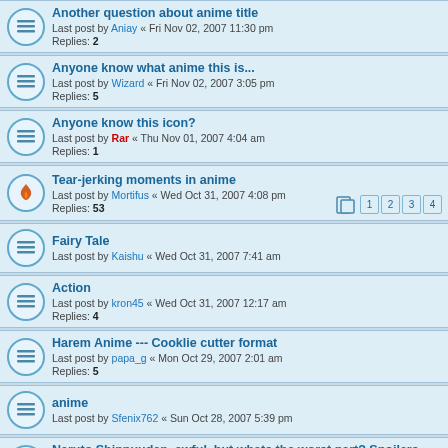Another question about anime title
Last post by Aniay « Fri Nov 02, 2007 11:30 pm
Replies: 2
Anyone know what anime this is...
Last post by Wizard « Fri Nov 02, 2007 3:05 pm
Replies: 5
Anyone know this icon?
Last post by Rar « Thu Nov 01, 2007 4:04 am
Replies: 1
Tear-jerking moments in anime
Last post by Mortifus « Wed Oct 31, 2007 4:08 pm
Replies: 53
Pages: 1 2 3 4
Fairy Tale
Last post by Kaishu « Wed Oct 31, 2007 7:41 am
Action
Last post by kron45 « Wed Oct 31, 2007 12:17 am
Replies: 4
Harem Anime --- Cooklie cutter format
Last post by papa_g « Mon Oct 29, 2007 2:01 am
Replies: 5
anime
Last post by Sfenix762 « Sun Oct 28, 2007 5:39 pm
Naruto Shippuuden, awful, but whats the worst part? Spoilers
Last post by albinosqrl « Sun Oct 28, 2007 2:55 pm
Replies: 7